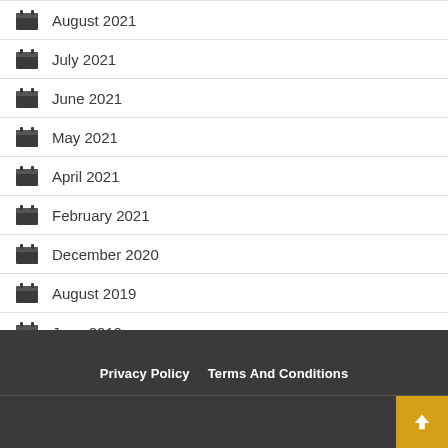August 2021
July 2021
June 2021
May 2021
April 2021
February 2021
December 2020
August 2019
June 2019
Privacy Policy   Terms And Conditions